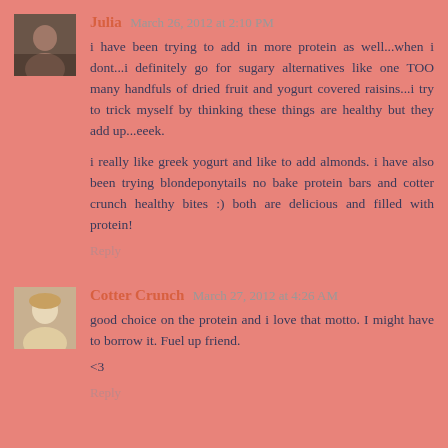[Figure (photo): Small avatar photo of Julia, dark tones]
Julia March 26, 2012 at 2:10 PM
i have been trying to add in more protein as well...when i dont...i definitely go for sugary alternatives like one TOO many handfuls of dried fruit and yogurt covered raisins...i try to trick myself by thinking these things are healthy but they add up...eeek.

i really like greek yogurt and like to add almonds. i have also been trying blondeponytails no bake protein bars and cotter crunch healthy bites :) both are delicious and filled with protein!
Reply
[Figure (photo): Small avatar photo of Cotter Crunch, light tones blonde]
Cotter Crunch March 27, 2012 at 4:26 AM
good choice on the protein and i love that motto. I might have to borrow it. Fuel up friend.
<3
Reply